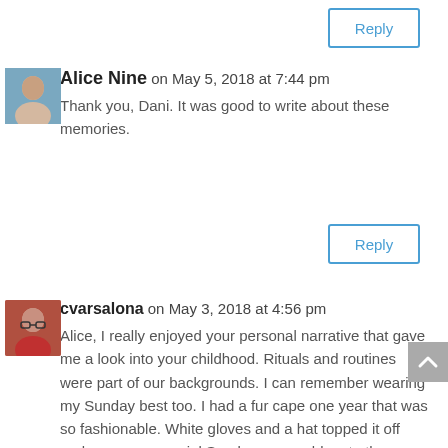Reply
Alice Nine on May 5, 2018 at 7:44 pm
Thank you, Dani. It was good to write about these memories.
Reply
cvarsalona on May 3, 2018 at 4:56 pm
Alice, I really enjoyed your personal narrative that gave me a look into your childhood. Rituals and routines were part of our backgrounds. I can remember wearing my Sunday best too. I had a fur cape one year that was so fashionable. White gloves and a hat topped it off and on a very special Sunday we would go to the restaurant in town for a